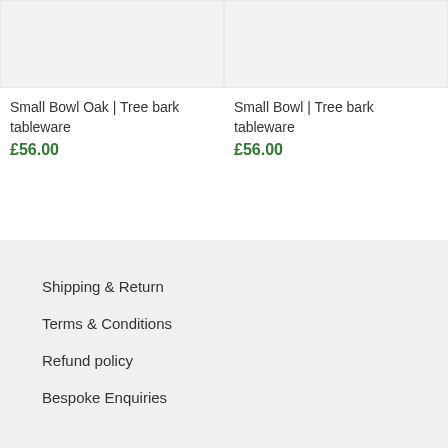[Figure (photo): Product image placeholder for Small Bowl Oak - light grey background]
[Figure (photo): Product image placeholder for Small Bowl - light grey background]
Small Bowl Oak | Tree bark tableware
£56.00
Small Bowl | Tree bark tableware
£56.00
Shipping & Return
Terms & Conditions
Refund policy
Bespoke Enquiries